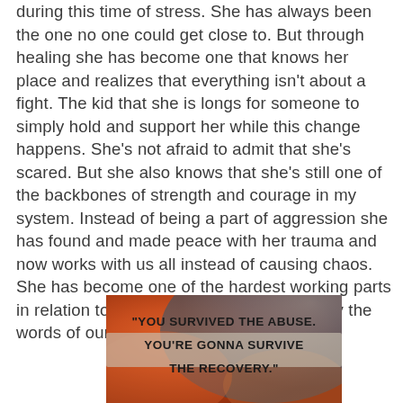during this time of stress. She has always been the one no one could get close to. But through healing she has become one that knows her place and realizes that everything isn't about a fight. The kid that she is longs for someone to simply hold and support her while this change happens. She's not afraid to admit that she's scared. But she also knows that she's still one of the backbones of strength and courage in my system. Instead of being a part of aggression she has found and made peace with her trauma and now works with us all instead of causing chaos. She has become one of the hardest working parts in relation to recovery. And she holds tightly the words of our dear Sarah close to her heart.
[Figure (illustration): Motivational quote image with colorful tie-dye background in red, orange, and blue tones. Text reads: 'YOU SURVIVED THE ABUSE. YOU'RE GONNA SURVIVE THE RECOVERY.']